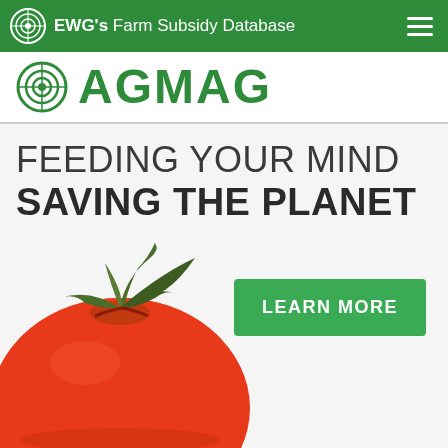EWG's Farm Subsidy Database
AGMAG
FEEDING YOUR MIND SAVING THE PLANET
[Figure (illustration): Close-up photograph of a red tomato with green stem/leaves on a light background]
LEARN MORE